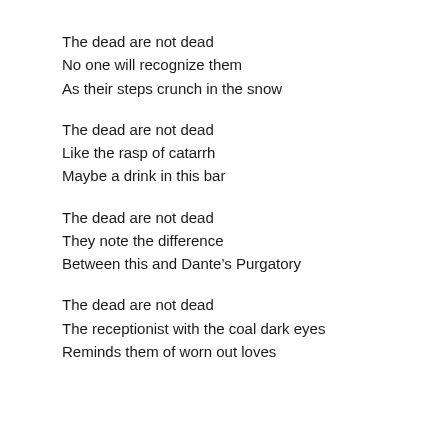The dead are not dead
No one will recognize them
As their steps crunch in the snow
The dead are not dead
Like the rasp of catarrh
Maybe a drink in this bar
The dead are not dead
They note the difference
Between this and Dante’s Purgatory
The dead are not dead
The receptionist with the coal dark eyes
Reminds them of worn out loves